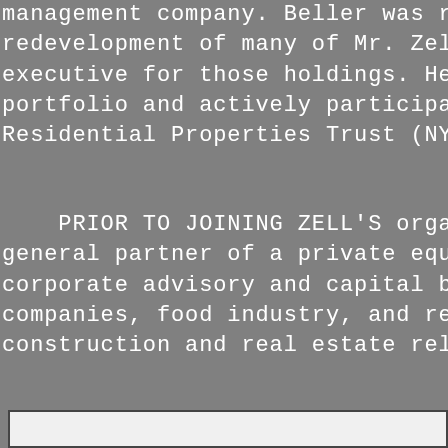management company. Beller was respo redevelopment of many of Mr. Zell's pe executive for those holdings. He was a portfolio and actively participated in th Residential Properties Trust (NYSE:EQ
PRIOR TO JOINING ZELL'S organ general partner of a private equity inve corporate advisory and capital business companies, food industry, and retail bu construction and real estate related ser